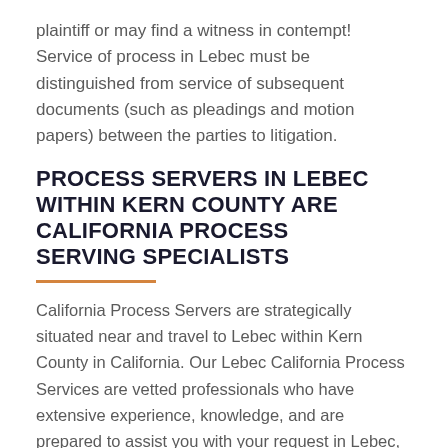plaintiff or may find a witness in contempt! Service of process in Lebec must be distinguished from service of subsequent documents (such as pleadings and motion papers) between the parties to litigation.
PROCESS SERVERS IN LEBEC WITHIN KERN COUNTY ARE CALIFORNIA PROCESS SERVING SPECIALISTS
California Process Servers are strategically situated near and travel to Lebec within Kern County in California. Our Lebec California Process Services are vetted professionals who have extensive experience, knowledge, and are prepared to assist you with your request in Lebec, California. Great